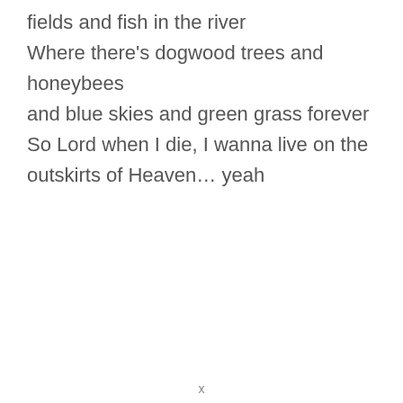fields and fish in the river
Where there's dogwood trees and honeybees
and blue skies and green grass forever
So Lord when I die, I wanna live on the outskirts of Heaven… yeah
x